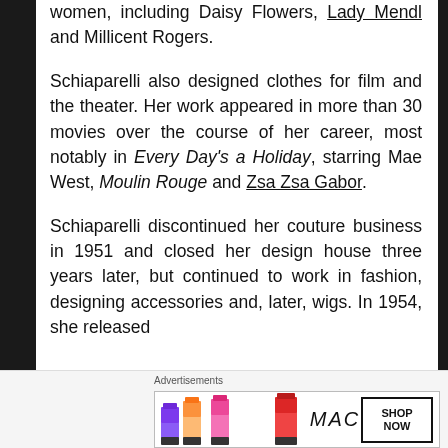women, including Daisy Flowers, Lady Mendl and Millicent Rogers.
Schiaparelli also designed clothes for film and the theater. Her work appeared in more than 30 movies over the course of her career, most notably in Every Day's a Holiday, starring Mae West, Moulin Rouge and Zsa Zsa Gabor.
Schiaparelli discontinued her couture business in 1951 and closed her design house three years later, but continued to work in fashion, designing accessories and, later, wigs. In 1954, she released
[Figure (other): MAC Cosmetics advertisement banner showing lipsticks in purple, peach, pink, and red colors with MAC logo and SHOP NOW button]